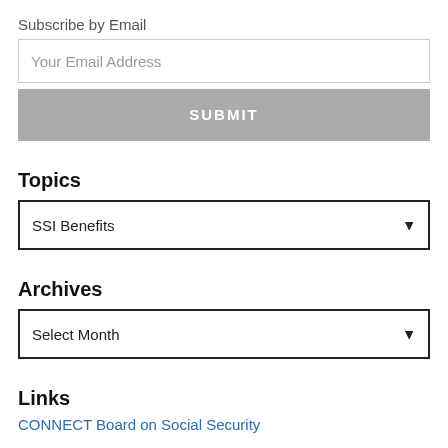Subscribe by Email
Your Email Address
SUBMIT
Topics
SSI Benefits
Archives
Select Month
Links
CONNECT Board on Social Security